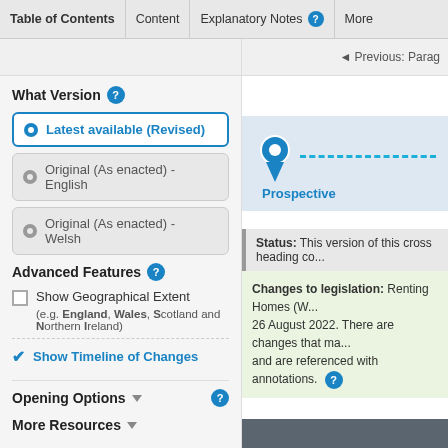Table of Contents | Content | Explanatory Notes | More
What Version
Latest available (Revised)
Original (As enacted) - English
Original (As enacted) - Welsh
Advanced Features
Show Geographical Extent (e.g. England, Wales, Scotland and Northern Ireland)
Show Timeline of Changes
Opening Options
More Resources
[Figure (infographic): Timeline slider showing a pin/marker icon at the leftmost position with a dashed line extending to the right, labelled 'Prospective' below]
Status: This version of this cross heading co...
Changes to legislation: Renting Homes (W... 26 August 2022. There are changes that ma... and are referenced with annotations.